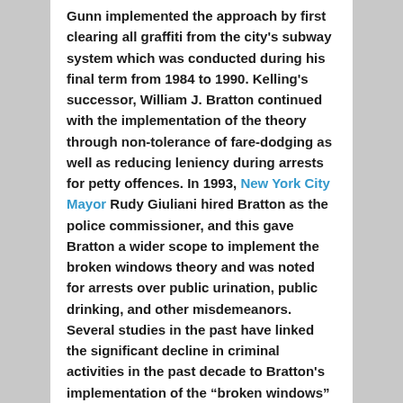Gunn implemented the approach by first clearing all graffiti from the city's subway system which was conducted during his final term from 1984 to 1990. Kelling's successor, William J. Bratton continued with the implementation of the theory through non-tolerance of fare-dodging as well as reducing leniency during arrests for petty offences. In 1993, New York City Mayor Rudy Giuliani hired Bratton as the police commissioner, and this gave Bratton a wider scope to implement the broken windows theory and was noted for arrests over public urination, public drinking, and other misdemeanors. Several studies in the past have linked the significant decline in criminal activities in the past decade to Bratton's implementation of the “broken windows” theory. The impressive results of New York City's implementation of the theory have made several other US cities implement the theory including Boston, Albuquerque, and Lowell...